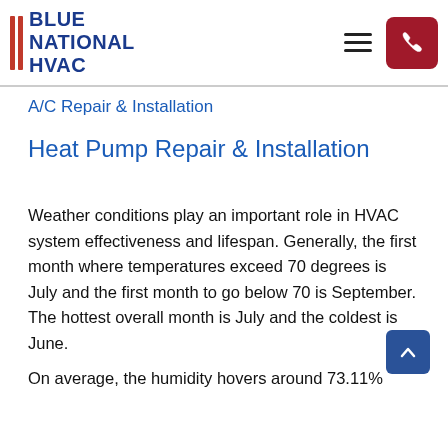BLUE NATIONAL HVAC
A/C Repair & Installation
Heat Pump Repair & Installation
Weather conditions play an important role in HVAC system effectiveness and lifespan. Generally, the first month where temperatures exceed 70 degrees is July and the first month to go below 70 is September. The hottest overall month is July and the coldest is June.
On average, the humidity hovers around 73.11%